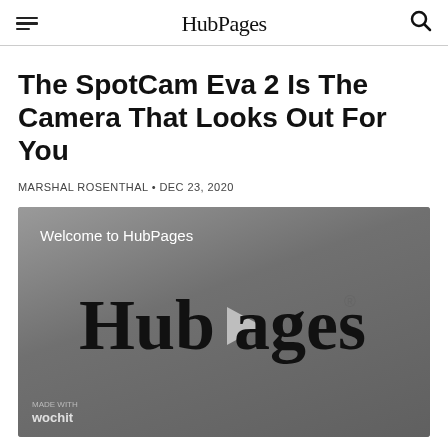HubPages
The SpotCam Eva 2 Is The Camera That Looks Out For You
MARSHAL ROSENTHAL • DEC 23, 2020
[Figure (screenshot): Video player showing HubPages welcome screen with HubPages logo and play button, wochit watermark at bottom left]